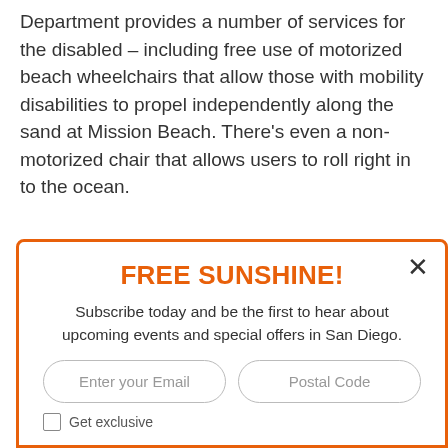Department provides a number of services for the disabled – including free use of motorized beach wheelchairs that allow those with mobility disabilities to propel independently along the sand at Mission Beach. There's even a non-motorized chair that allows users to roll right in to the ocean.
SHARE THE SAN DIEGO LOVE:
[Figure (infographic): Social share icons: Facebook (blue), Twitter (blue), Pinterest (red), Reddit (light blue), Email (grey)]
FREE SUNSHINE!
Subscribe today and be the first to hear about upcoming events and special offers in San Diego.
Enter your Email | Postal Code
Get exclusive...